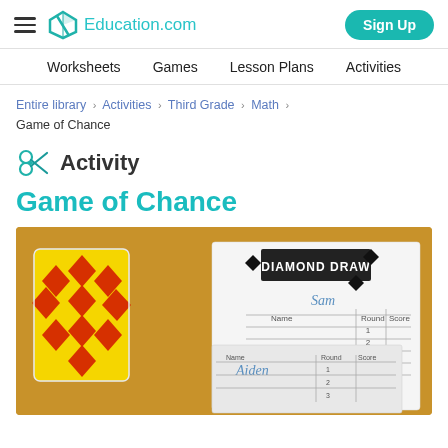Education.com | Sign Up
Worksheets | Games | Lesson Plans | Activities
Entire library > Activities > Third Grade > Math > Game of Chance
Activity
Game of Chance
[Figure (photo): A card game scene on an orange/amber background showing a yellow and red diamond-pattern playing card deck and a 'Diamond Draw' score sheet with player names 'Aiden' and 'Sam' written in cursive, with round/score columns.]